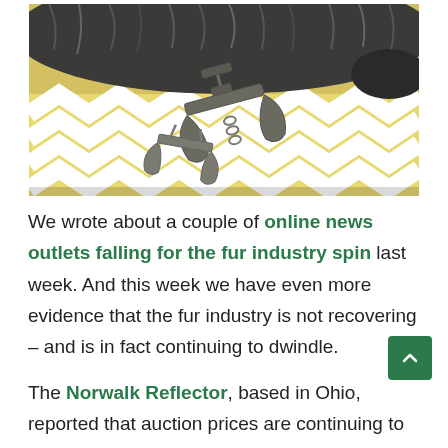[Figure (photo): A raccoon fur pelt and a metal animal trap placed on a yellow and white chevron-patterned fabric background.]
We wrote about a couple of online news outlets falling for the fur industry spin last week. And this week we have even more evidence that the fur industry is not recovering – and is in fact continuing to dwindle.
The Norwalk Reflector, based in Ohio, reported that auction prices are continuing to fall.